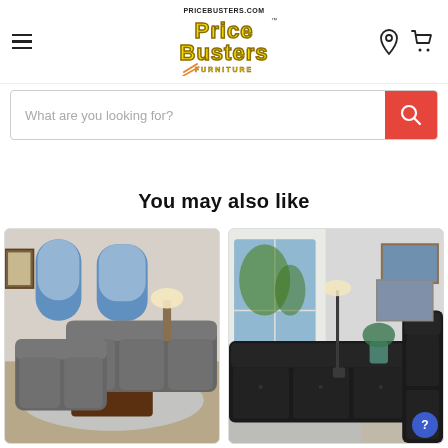PriceBusters.com Price Busters Furniture — navigation header with logo, hamburger menu, location pin, and cart icon
What are you looking for?
You may also like
[Figure (photo): Gray fabric sofa set (loveseat and sofa) in a living room with arched window and coffee table]
[Figure (photo): Black tufted leather L-shaped sectional sofa in a bright modern living room]